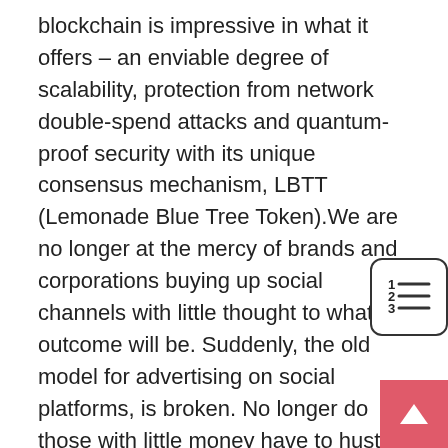blockchain is impressive in what it offers – an enviable degree of scalability, protection from network double-spend attacks and quantum-proof security with its unique consensus mechanism, LBTT (Lemonade Blue Tree Token).We are no longer at the mercy of brands and corporations buying up social channels with little thought to what the outcome will be. Suddenly, the old model for advertising on social platforms, is broken. No longer do those with little money have to hustle in order to see their words, images, or videos seen. In these difficult economic times that means people can start and build successful careers as social media organisersIt's easy to point out some possible flaws in advertising on newer networks such as Instagram. It still costs money in cash or kind to buy ads even if they are directed at a socially-engaged community, where your competitors may have less investment despite more